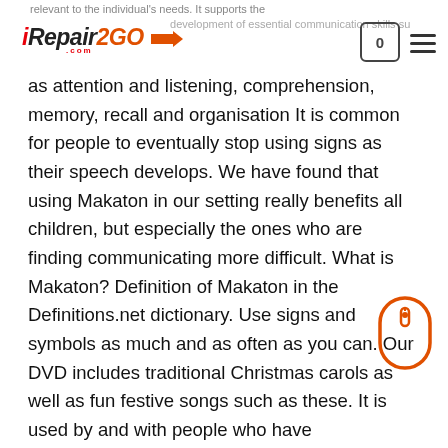iRepair2GO — website header with logo and navigation icons
relevant to the individual's needs. It supports the development of essential communication skills such as attention and listening, comprehension, memory, recall and organisation It is common for people to eventually stop using signs as their speech develops. We have found that using Makaton in our setting really benefits all children, but especially the ones who are finding communicating more difficult. What is Makaton? Definition of Makaton in the Definitions.net dictionary. Use signs and symbols as much and as often as you can. Our DVD includes traditional Christmas carols as well as fun festive songs such as these. It is used by and with people who have communication, language or learning difficulties. Makaton signing: This is one of our favourite songs from the Singing Hands Christmas DVD "It's a Christmas Cracker" featuring Makaton signs and symbols. Makaton signs help convey meaning, because the signs give an extra clue when speaking,